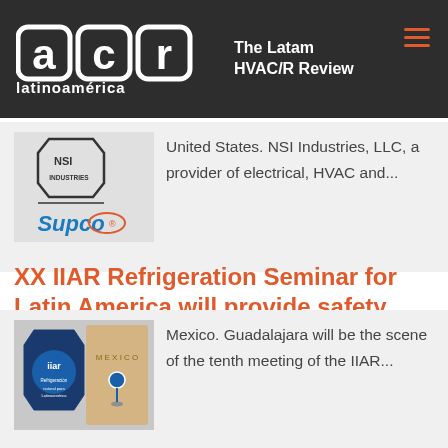acr latinoamérica – The Latam HVAC/R Review
[Figure (logo): NSI Industries and Supco logo]
United States. NSI Industries, LLC, a provider of electrical, HVAC and...
XX IIAR Refrigeration Seminar for Latin America will provide safety training
[Figure (photo): IIAR seminar logo and map with pin]
Mexico. Guadalajara will be the scene of the tenth meeting of the IIAR...